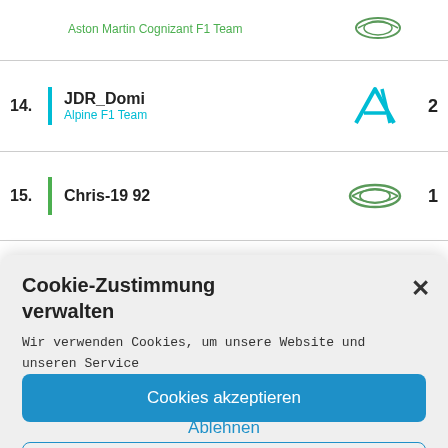| Pos |  | Driver / Team | Logo | Points |
| --- | --- | --- | --- | --- |
|  |  | Aston Martin Cognizant F1 Team |  |  |
| 14. | | | JDR_Domi
Alpine F1 Team | Alpine logo | 2 |
| 15. | | | Chris-19 92 | Aston Martin logo | 1 |
Cookie-Zustimmung verwalten
Wir verwenden Cookies, um unsere Website und unseren Service zu optimieren.
Cookies akzeptieren
Ablehnen
Einstellungen anzeigen